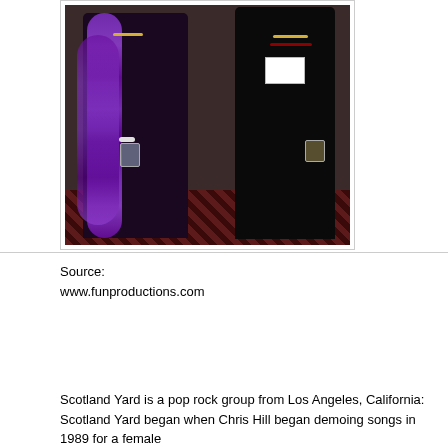[Figure (photo): Two people posing together at an event. A woman on the left wearing a purple feather boa and beaded necklaces, holding a drink. A man on the right wearing a dark suit with a name tag and beaded necklaces, also holding a drink. Patterned carpet visible at the bottom.]
Source:
www.funproductions.com
Scotland Yard is a pop rock group from Los Angeles, California: Scotland Yard began when Chris Hill began demoing songs in 1989 for a female